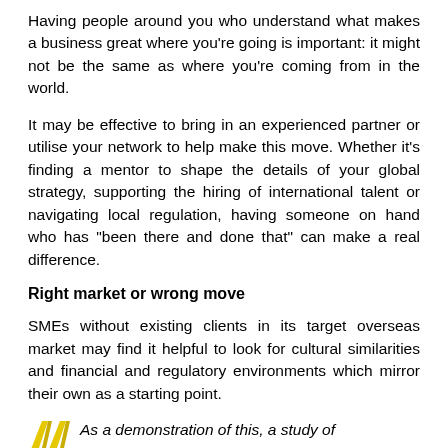Having people around you who understand what makes a business great where you're going is important: it might not be the same as where you're coming from in the world.
It may be effective to bring in an experienced partner or utilise your network to help make this move. Whether it's finding a mentor to shape the details of your global strategy, supporting the hiring of international talent or navigating local regulation, having someone on hand who has “been there and done that” can make a real difference.
Right market or wrong move
SMEs without existing clients in its target overseas market may find it helpful to look for cultural similarities and financial and regulatory environments which mirror their own as a starting point.
As a demonstration of this, a study of